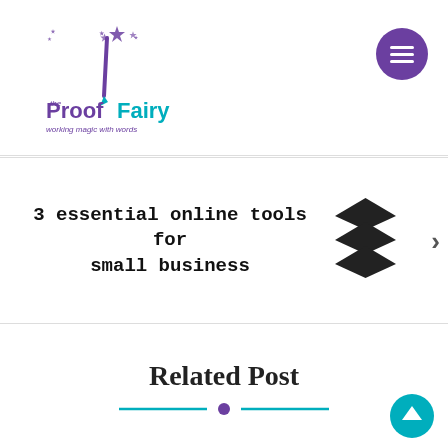[Figure (logo): The Proof Fairy logo — stylized letter P with stars, text 'the ProofFairy' in purple/teal, tagline 'working magic with words']
[Figure (illustration): Purple circle with white hamburger menu icon (three horizontal lines)]
[Figure (illustration): Banner slide: text '3 essential online tools for small business' in monospace bold, Buffer app logo (layered diamonds), 'bufferapp.com' label, right chevron arrow]
Related Post
[Figure (illustration): Decorative divider: teal horizontal lines with purple dot in center]
[Figure (illustration): Teal circle with white upward arrow (scroll-to-top button)]